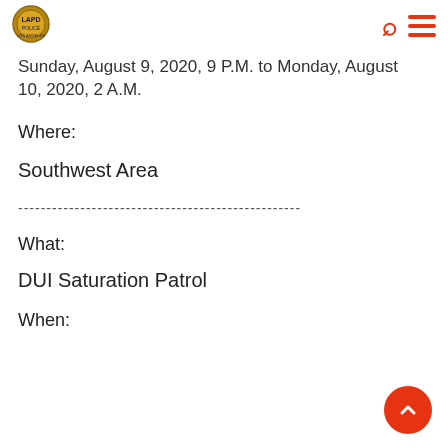LAPD logo, search icon, menu icon
Sunday, August 9, 2020, 9 P.M. to Monday, August 10, 2020, 2 A.M.
Where:
Southwest Area
----------------------------------------------------
What:
DUI Saturation Patrol
When: